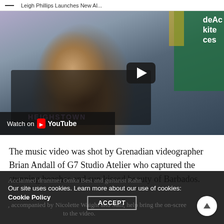— Leigh Phillips Launches New Al...
[Figure (screenshot): Video thumbnail showing a Grenadian woman smiling, wearing a black shirt with 'Heighstown' text, with a colorful mural in the background. A YouTube play button overlay is visible in the center-right. A 'Watch on YouTube' bar appears at the bottom-left of the video.]
The music video was shot by Grenadian videographer Brian Andall of G7 Studio Atelier who captured the stunning beaches and sun kissed beauty of Barbados.
Acclaimed drummer Omka Best and guitarist Rahn , accompanied by Nicolette Waight and Sam, help bring the on-screen to the video.
Our site uses cookies. Learn more about our use of cookies: Cookie Policy
ACCEPT